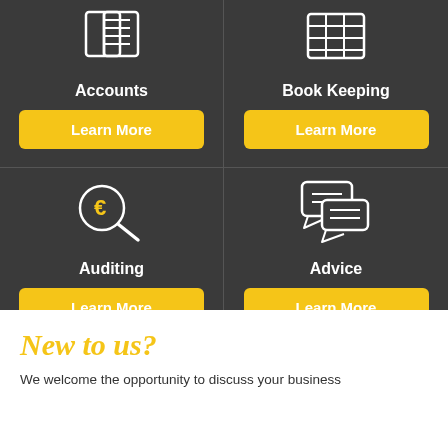[Figure (infographic): Four service tiles on dark background: Accounts (book/document icon), Book Keeping (spreadsheet icon), Auditing (euro magnifying glass icon), Advice (chat bubbles icon), each with a yellow Learn More button]
New to us?
We welcome the opportunity to discuss your business